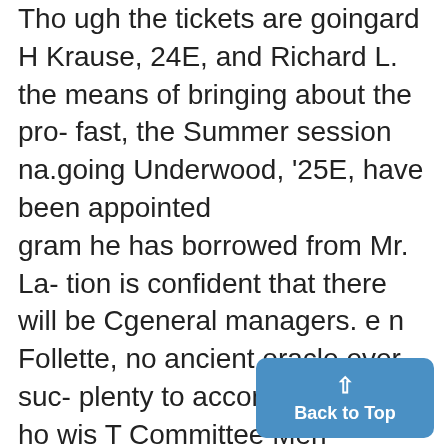Tho ugh the tickets are goingard H Krause, 24E, and Richard L. the means of bringing about the pro- fast, the Summer session na.going Underwood, '25E, have been appointed gram he has borrowed from Mr. La- tion is confident that there will be Cgeneral managers. e n Follette, no ancient oracle ever suc- plenty to accommodate all ho wis T Committee Men Appocinted ceeded in being so vague." pe to acomdaealwh ih The publicity w care of